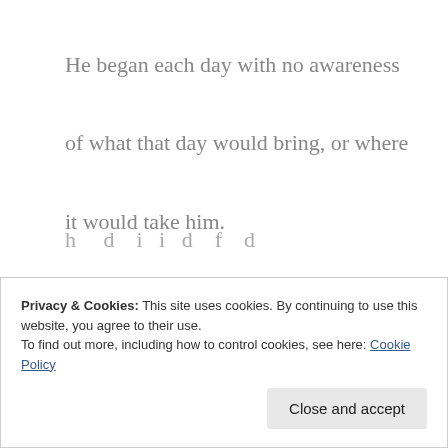He began each day with no awareness
of what that day would bring, or where
it would take him.
He needed to learn how to surrender
his human will to the will of God,
and then
h……d…i…i…d…f…d
Privacy & Cookies: This site uses cookies. By continuing to use this website, you agree to their use.
To find out more, including how to control cookies, see here: Cookie Policy
Close and accept